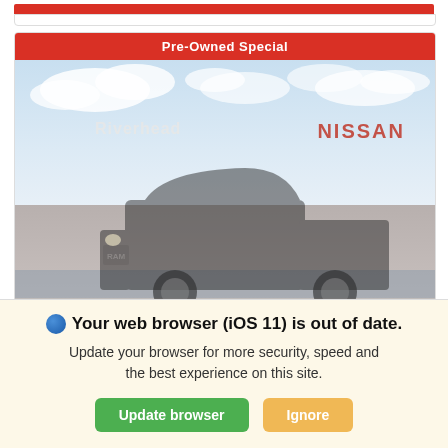[Figure (screenshot): Pre-Owned Special banner with a faded photo of a black RAM 1500 pickup truck parked in front of a Riverhead Nissan dealership building under a partly cloudy sky.]
Riverhead
Your web browser (iOS 11) is out of date. Update your browser for more security, speed and the best experience on this site.
Update browser
Ignore